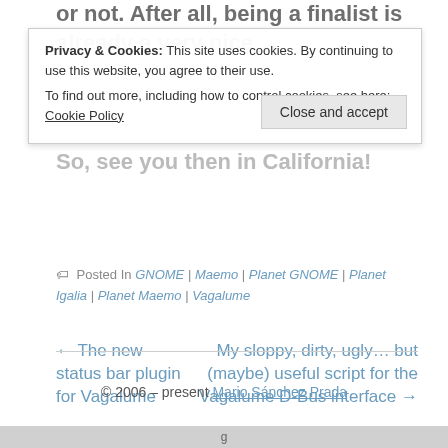or not. After all, being a finalist is already a very nice
Privacy & Cookies: This site uses cookies. By continuing to use this website, you agree to their use. To find out more, including how to control cookies, see here: Cookie Policy
So, see you then in California!
Posted In GNOME | Maemo | Planet GNOME | Planet Igalia | Planet Maemo | Vagalume
← The new status bar plugin for Vagalume
My sloppy, dirty, ugly... but (maybe) useful script for the Vagalume D-Bus interface →
© 2006 – present Mario Sánchez Prada
g